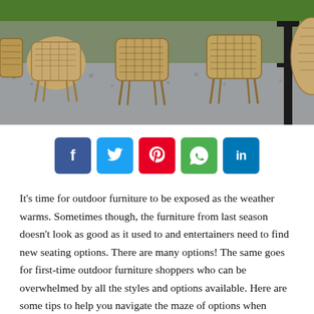[Figure (photo): Photo of wicker/rattan outdoor chairs on a gravel surface with green grass in the background]
[Figure (infographic): Social media share buttons: Facebook (blue), Twitter (light blue), Pinterest (red), WhatsApp (green), LinkedIn (dark blue)]
It's time for outdoor furniture to be exposed as the weather warms. Sometimes though, the furniture from last season doesn't look as good as it used to and entertainers need to find new seating options. There are many options! The same goes for first-time outdoor furniture shoppers who can be overwhelmed by all the styles and options available. Here are some tips to help you navigate the maze of options when shopping for outdoor seating or dining options. Wicker Warehouse is proud to offer a complete range of Wicker Furniture. We have our own designs and are made by our